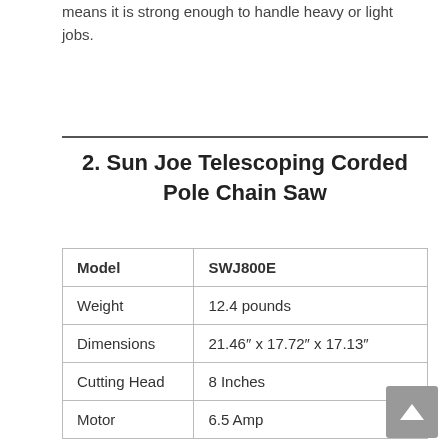means it is strong enough to handle heavy or light jobs.
2. Sun Joe Telescoping Corded Pole Chain Saw
| Model | SWJ800E |
| Weight | 12.4 pounds |
| Dimensions | 21.46″ x 17.72″ x 17.13″ |
| Cutting Head | 8 Inches |
| Motor | 6.5 Amp |